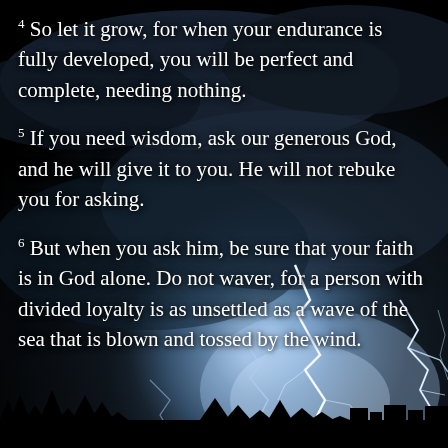[Figure (photo): Dramatic stormy night sky with multiple lightning bolts striking through dark clouds, with silhouetted trees/buildings at the bottom edge.]
4 So let it grow, for when your endurance is fully developed, you will be perfect and complete, needing nothing.
5 If you need wisdom, ask our generous God, and he will give it to you. He will not rebuke you for asking.
6 But when you ask him, be sure that your faith is in God alone. Do not waver, for a person with divided loyalty is as unsettled as a wave of the sea that is blown and tossed by the wind.